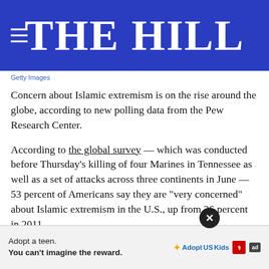THE HILL
Getty Images
Concern about Islamic extremism is on the rise around the globe, according to new polling data from the Pew Research Center.
According to the global survey — which was conducted before Thursday’s killing of four Marines in Tennessee as well as a set of attacks across three continents in June — 53 percent of Americans say they are “very concerned” about Islamic extremism in the U.S., up from 36 percent in 2011.
{mosads}Similar numbers persist in many European nations... increases in the... about